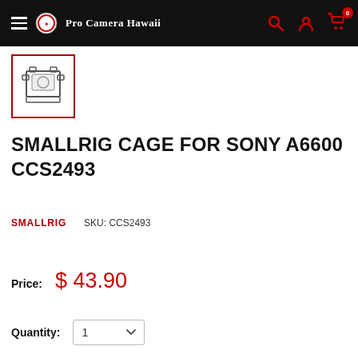Pro Camera Hawaii
[Figure (photo): Thumbnail image of SmallRig Cage for Sony A6600, shown in a red-bordered square box]
SMALLRIG CAGE FOR SONY A6600 CCS2493
SMALLRIG    SKU: CCS2493
Price:  $ 43.90
Quantity:  1